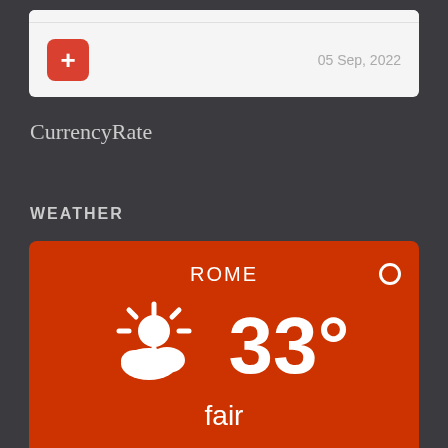[Figure (screenshot): White card with a red plus button on the left and date '05 Sep, 2022' on the right]
CurrencyRate
WEATHER
[Figure (infographic): Weather widget showing Rome, 33 degrees, fair weather with partly cloudy sun icon on orange/red background. Footer reads 'Weather forecast Rome, Italy ▶']